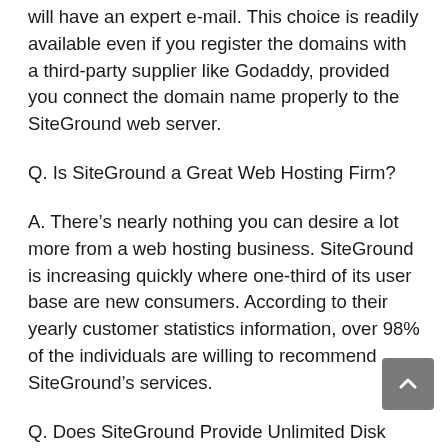will have an expert e-mail. This choice is readily available even if you register the domains with a third-party supplier like Godaddy, provided you connect the domain name properly to the SiteGround web server.
Q. Is SiteGround a Great Web Hosting Firm?
A. There’s nearly nothing you can desire a lot more from a web hosting business. SiteGround is increasing quickly where one-third of its user base are new consumers. According to their yearly customer statistics information, over 98% of the individuals are willing to recommend SiteGround’s services.
Q. Does SiteGround Provide Unlimited Disk Capacity & Data Transfer?